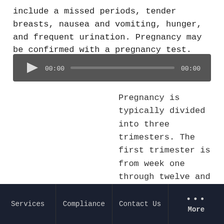include a missed periods, tender breasts, nausea and vomiting, hunger, and frequent urination. Pregnancy may be confirmed with a pregnancy test.
[Figure (other): Audio player widget with play button, time display showing 00:00, progress bar, and end time 00:00 on dark gray background.]
Pregnancy is typically divided into three trimesters. The first trimester is from week one through twelve and includes conception. Conception is followed by the fertilized egg
Services   Compliance   Contact Us   ... More